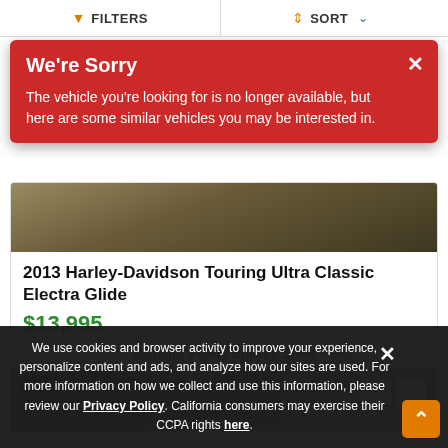FILTERS   SORT
We're Sorry
The vehicle you're looking for is no longer available, but here are some similar vehicles you may be interested in.
2013 Harley-Davidson Touring Ultra Classic Electra Glide
$13,995
Color   Midnight Pearl / Brilliant Silver Pearl
[Figure (screenshot): Partial motorcycle listing card image (second vehicle)]
We use cookies and browser activity to improve your experience, personalize content and ads, and analyze how our sites are used. For more information on how we collect and use this information, please review our Privacy Policy. California consumers may exercise their CCPA rights here.